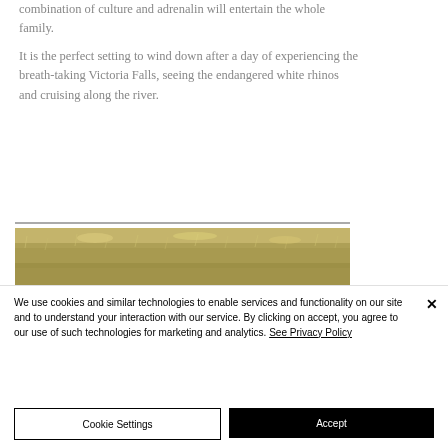combination of culture and adrenalin will entertain the whole family.
It is the perfect setting to wind down after a day of experiencing the breath-taking Victoria Falls, seeing the endangered white rhinos and cruising along the river.
[Figure (photo): A partial photograph showing a savanna/grassland landscape, appearing as a strip at the bottom of the article content area.]
We use cookies and similar technologies to enable services and functionality on our site and to understand your interaction with our service. By clicking on accept, you agree to our use of such technologies for marketing and analytics. See Privacy Policy